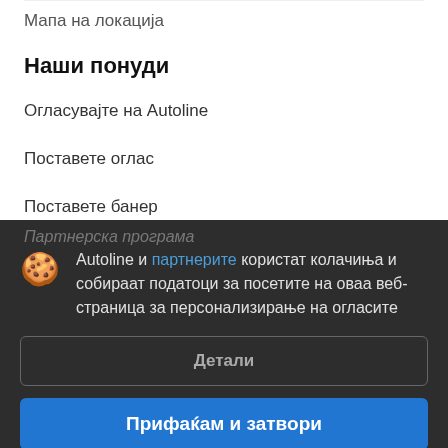Мапа на локација
Наши понуди
Огласувајте на Autoline
Поставете оглас
Поставете банер
Партнерска програма
Autoline и партнерите користат колачиња и собираат податоци за посетите на оваа веб-страница за персонализирање на огласите
Детали
Прифаќам и затвори